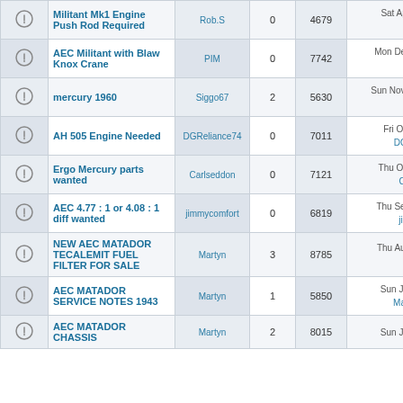|  | Topic | Author | Replies | Views | Last Post |
| --- | --- | --- | --- | --- | --- |
|  | Militant Mk1 Engine Push Rod Required | Rob.S | 0 | 4679 | Sat Apr 06, 2019 9:... Rob.S →□ |
|  | AEC Militant with Blaw Knox Crane | PIM | 0 | 7742 | Mon Dec 17, 2018 4:... PIM →□ |
|  | mercury 1960 | Siggo67 | 2 | 5630 | Sun Nov 25, 2018 10:... Josh →□ |
|  | AH 505 Engine Needed | DGReliance74 | 0 | 7011 | Fri Oct 12, 2018 6:... DGReliance74 • |
|  | Ergo Mercury parts wanted | Carlseddon | 0 | 7121 | Thu Oct 11, 2018 6:... Carlseddon →• |
|  | AEC 4.77 : 1 or 4.08 : 1 diff wanted | jimmycomfort | 0 | 6819 | Thu Sep 27, 2018 8:... jimmycomfort • |
|  | NEW AEC MATADOR TECALEMIT FUEL FILTER FOR SALE | Martyn | 3 | 8785 | Thu Aug 23, 2018 9:... Martyn →□ |
|  | AEC MATADOR SERVICE NOTES 1943 | Martyn | 1 | 5850 | Sun Jul 29, 2018 7:... Matador_Doris • |
|  | AEC MATADOR CHASSIS | Martyn | 2 | 8015 | Sun Jul 29, 2018 6:... |